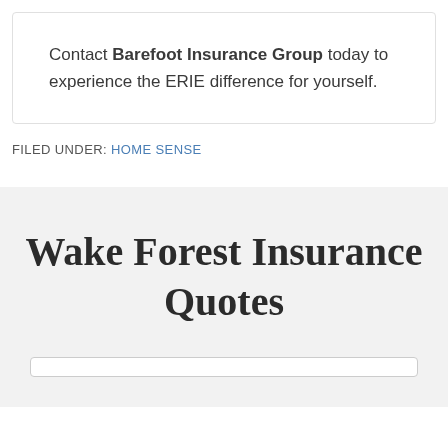Contact Barefoot Insurance Group today to experience the ERIE difference for yourself.
FILED UNDER: HOME SENSE
Wake Forest Insurance Quotes